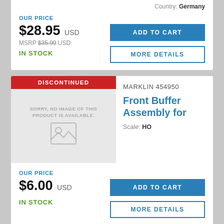Country: Germany
OUR PRICE
$28.95 USD
MSRP $35.99 USD
IN STOCK
ADD TO CART
MORE DETAILS
DISCONTINUED
MARKLIN 454950
Front Buffer Assembly for
Scale: HO
OUR PRICE
$6.00 USD
IN STOCK
ADD TO CART
MORE DETAILS
DISCONTINUED
MARKLIN 46950